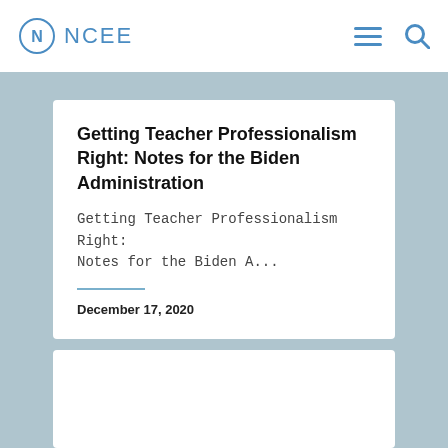NCEE
Getting Teacher Professionalism Right: Notes for the Biden Administration
Getting Teacher Professionalism Right: Notes for the Biden A...
December 17, 2020